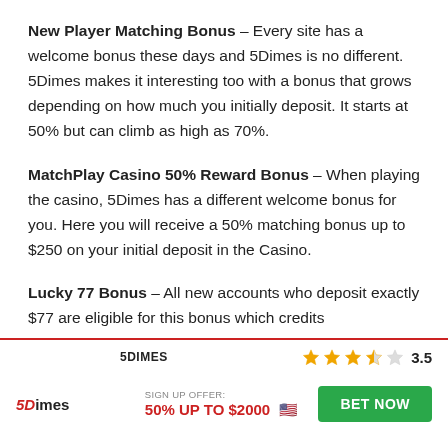New Player Matching Bonus – Every site has a welcome bonus these days and 5Dimes is no different. 5Dimes makes it interesting too with a bonus that grows depending on how much you initially deposit. It starts at 50% but can climb as high as 70%.
MatchPlay Casino 50% Reward Bonus – When playing the casino, 5Dimes has a different welcome bonus for you. Here you will receive a 50% matching bonus up to $250 on your initial deposit in the Casino.
Lucky 77 Bonus – All new accounts who deposit exactly $77 are eligible for this bonus which credits
5DIMES | 3.5 stars | SIGN UP OFFER: 50% UP TO $2000 | BET NOW